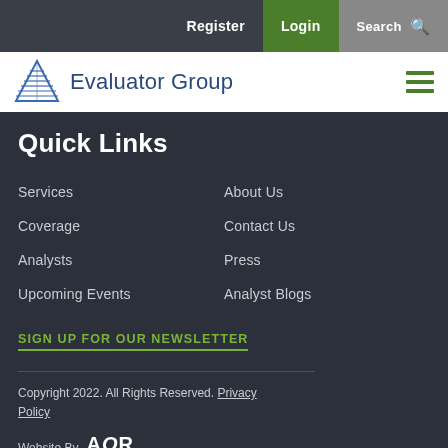Register | Login | Search
[Figure (logo): Evaluator Group logo with triangle icon]
Quick Links
Services
About Us
Coverage
Contact Us
Analysts
Press
Upcoming Events
Analyst Blogs
SIGN UP FOR OUR NEWSLETTER
Copyright 2022. All Rights Reserved. Privacy Policy
Website By AOR AGENCY OFF RECORD